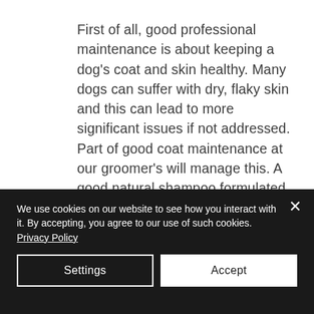First of all, good professional maintenance is about keeping a dog's coat and skin healthy. Many dogs can suffer with dry, flaky skin and this can lead to more significant issues if not addressed. Part of good coat maintenance at our groomer's will manage this. A good natural shampoo formulated for sensitive skin will help soothe your dog's skin and prevent them from itching and scratching and potentially causing more discomfort and damage.
We use cookies on our website to see how you interact with it. By accepting, you agree to our use of such cookies. Privacy Policy